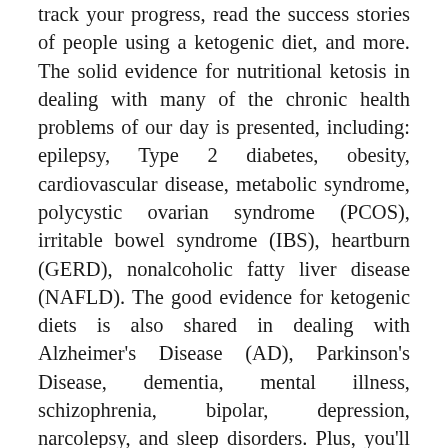track your progress, read the success stories of people using a ketogenic diet, and more. The solid evidence for nutritional ketosis in dealing with many of the chronic health problems of our day is presented, including: epilepsy, Type 2 diabetes, obesity, cardiovascular disease, metabolic syndrome, polycystic ovarian syndrome (PCOS), irritable bowel syndrome (IBS), heartburn (GERD), nonalcoholic fatty liver disease (NAFLD). The good evidence for ketogenic diets is also shared in dealing with Alzheimer's Disease (AD), Parkinson's Disease, dementia, mental illness, schizophrenia, bipolar, depression, narcolepsy, and sleep disorders. Plus, you'll get the details on the emerging science that is showing great promise in treating cancer, autism, migraines, chronic pain, brain injury, stroke, kidney disease and so much more. Keto Clarity is your definitive guide to the benefits of a ketogenic diet. Full details...